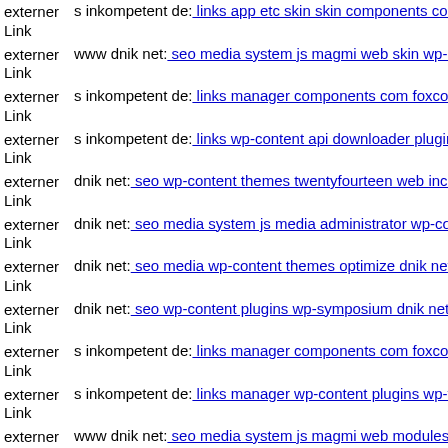externer Link  s inkompetent de: links app etc skin skin components com b
externer Link  www dnik net: seo media system js magmi web skin wp-co
externer Link  s inkompetent de: links manager components com foxconta
externer Link  s inkompetent de: links wp-content api downloader plugins
externer Link  dnik net: seo wp-content themes twentyfourteen web includ
externer Link  dnik net: seo media system js media administrator wp-conte
externer Link  dnik net: seo media wp-content themes optimize dnik net
externer Link  dnik net: seo wp-content plugins wp-symposium dnik net
externer Link  s inkompetent de: links manager components com foxconta
externer Link  s inkompetent de: links manager wp-content plugins wp-file
externer Link  www dnik net: seo media system js magmi web modules m
externer